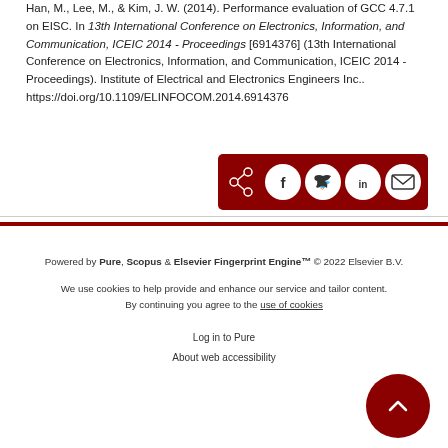Han, M., Lee, M., & Kim, J. W. (2014). Performance evaluation of GCC 4.7.1 on EISC. In 13th International Conference on Electronics, Information, and Communication, ICEIC 2014 - Proceedings [6914376] (13th International Conference on Electronics, Information, and Communication, ICEIC 2014 - Proceedings). Institute of Electrical and Electronics Engineers Inc.. https://doi.org/10.1109/ELINFOCOM.2014.6914376
[Figure (infographic): Social share buttons bar with dark red background: share icon, Facebook, Twitter, LinkedIn, Email buttons]
Powered by Pure, Scopus & Elsevier Fingerprint Engine™ © 2022 Elsevier B.V.
We use cookies to help provide and enhance our service and tailor content. By continuing you agree to the use of cookies
Log in to Pure
About web accessibility